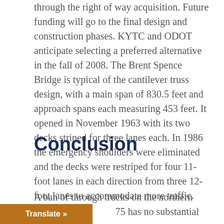through the right of way acquisition. Future funding will go to the final design and construction phases. KYTC and ODOT anticipate selecting a preferred alternative in the fall of 2008. The Brent Spence Bridge is typical of the cantilever truss design, with a main span of 830.5 feet and approach spans each measuring 453 feet. It opened in November 1963 with its two decks striped for three lanes each. In 1986 the emergency shoulders were eliminated and the decks were restriped for four 11-foot lanes in each direction from three 12-foot lanes to accommodate more traffic.
Conclusion
A ban of through trucks on the northern Kentucky 75 has no substantial benefits.